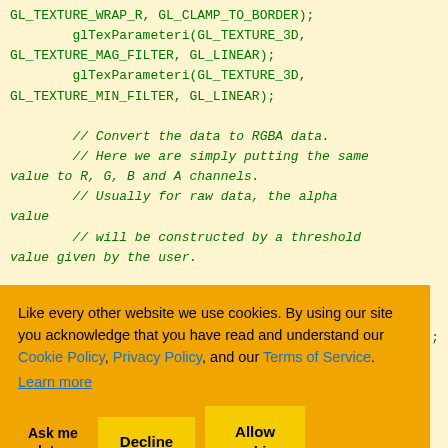GL_TEXTURE_WRAP_R, GL_CLAMP_TO_BORDER);
        glTexParameteri(GL_TEXTURE_3D,
GL_TEXTURE_MAG_FILTER, GL_LINEAR);
        glTexParameteri(GL_TEXTURE_3D,
GL_TEXTURE_MIN_FILTER, GL_LINEAR);

        // Convert the data to RGBA data.
        // Here we are simply putting the same
value to R, G, B and A channels.
        // Usually for raw data, the alpha
value
        // will be constructed by a threshold
value given by the user.
[Figure (screenshot): Cookie consent banner overlay with orange background showing: 'Like every other website we use cookies. By using our site you acknowledge that you have read and understand our Cookie Policy, Privacy Policy, and our Terms of Service. Learn more' with buttons 'Ask me later', 'Decline', 'Allow cookies']
< imageCount; = 1] = 2] = 3] = chBuffer[nIndex];